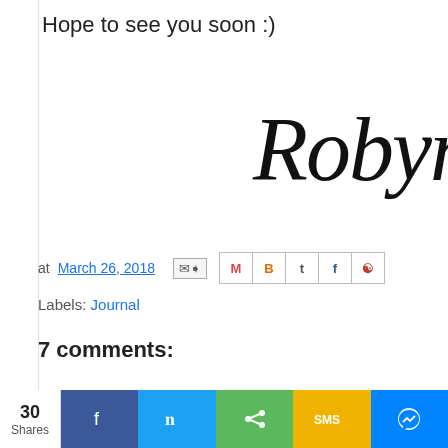Hope to see you soon :)
[Figure (illustration): Cursive handwritten signature reading 'Robyn' in decorative script]
at March 26, 2018
Labels: Journal
7 comments:
Kathy 26/3/18 10:52 PM
Hi Robyn! Thanks for stopping by my blog and commenting. It is to comments also but life happens and the responses don't a